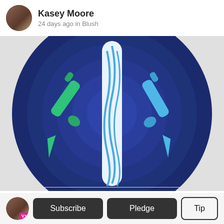Kasey Moore
24 days ago in Blush
[Figure (photo): Product photo showing two stylus pens (one green, one light blue) on a dark navy blue circular concentric ring background, with a white and blue swirl-patterned tube/case in the center dividing them.]
Smootag Reviews - Will It Really Works?
V+ Subscribe Pledge Tip